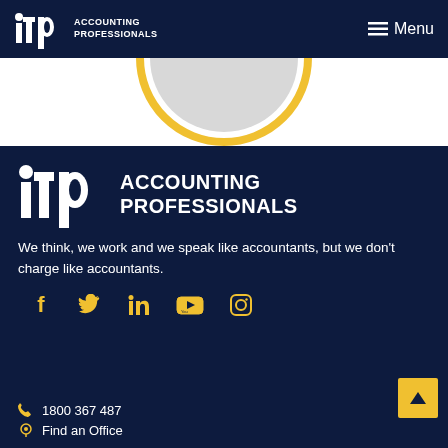itp ACCOUNTING PROFESSIONALS   ☰ Menu
[Figure (illustration): Yellow and grey circle arc visible at top, partial view of a circular decorative element with yellow outline and grey fill on white background]
[Figure (logo): ITP Accounting Professionals logo in white on dark navy background - large footer logo]
We think, we work and we speak like accountants, but we don't charge like accountants.
[Figure (infographic): Social media icons row: Facebook, Twitter, LinkedIn, YouTube, Instagram - all in yellow/gold color on dark navy background]
1800 367 487
Find an Office